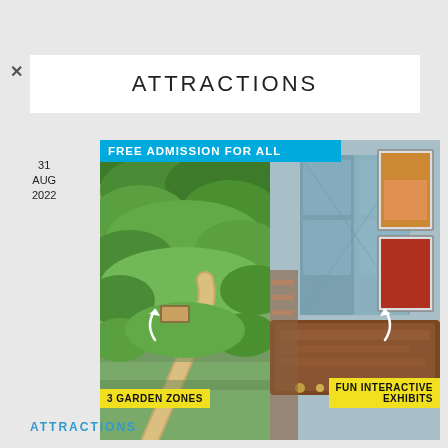ATTRACTIONS
[Figure (photo): Two side-by-side photos: left shows a lush garden with multiple garden zones, right shows a museum interior with interactive exhibits. Banner reads 'FREE ADMISSION FOR ALL'. Tags: '3 GARDEN ZONES' and 'FUN INTERACTIVE EXHIBITS'. Date: 31 AUG 2022.]
ATTRACTIONS